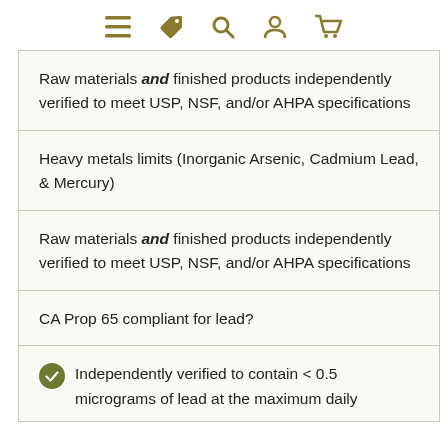Navigation icons: menu, tag, search, account, cart
Raw materials and finished products independently verified to meet USP, NSF, and/or AHPA specifications
Heavy metals limits (Inorganic Arsenic, Cadmium Lead, & Mercury)
Raw materials and finished products independently verified to meet USP, NSF, and/or AHPA specifications
CA Prop 65 compliant for lead?
Independently verified to contain < 0.5 micrograms of lead at the maximum daily